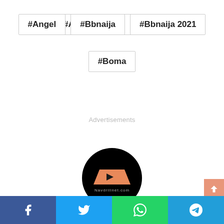#Angel
#Bbnaija
#Bbnaija 2021
#Boma
Advertisements
[Figure (logo): Navdrill logo: black circle with orange trapezoid shape and play button, text 'Navdrillnet.com']
Navdrill
[Figure (infographic): Social share bar with Facebook, Twitter, WhatsApp, and Telegram icons]